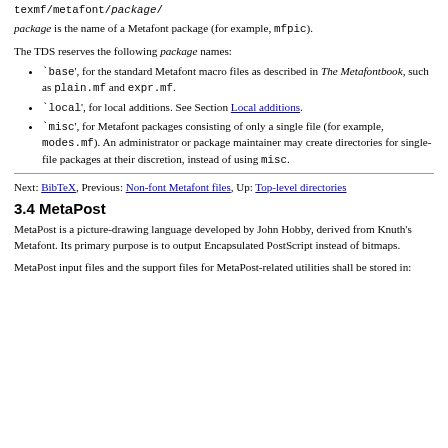texmf/metafont/package/
package is the name of a Metafont package (for example, mfpic).
The TDS reserves the following package names:
`base', for the standard Metafont macro files as described in The Metafontbook, such as plain.mf and expr.mf.
`local', for local additions. See Section Local additions.
`misc', for Metafont packages consisting of only a single file (for example, modes.mf). An administrator or package maintainer may create directories for single-file packages at their discretion, instead of using misc.
Next: BibTeX, Previous: Non-font Metafont files, Up: Top-level directories
3.4 MetaPost
MetaPost is a picture-drawing language developed by John Hobby, derived from Knuth's Metafont. Its primary purpose is to output Encapsulated PostScript instead of bitmaps.
MetaPost input files and the support files for MetaPost-related utilities shall be stored in: